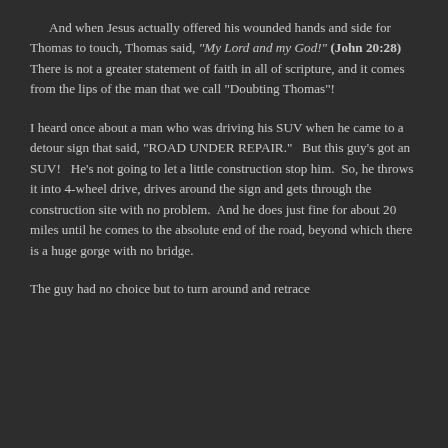And when Jesus actually offered his wounded hands and side for Thomas to touch, Thomas said, “My Lord and my God!” (John 20:28)   There is not a greater statement of faith in all of scripture, and it comes from the lips of the man that we call “Doubting Thomas”!
I heard once about a man who was driving his SUV when he came to a detour sign that said, “ROAD UNDER REPAIR.”   But this guy’s got an SUV!   He’s not going to let a little construction stop him.  So, he throws it into 4-wheel drive, drives around the sign and gets through the construction site with no problem.  And he does just fine for about 20 miles until he comes to the absolute end of the road, beyond which there is a huge gorge with no bridge.
The guy had no choice but to turn around and retrace